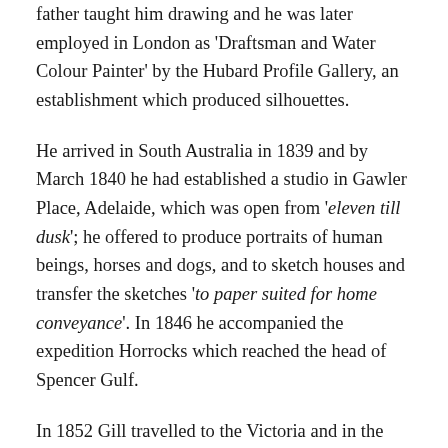father taught him drawing and he was later employed in London as 'Draftsman and Water Colour Painter' by the Hubard Profile Gallery, an establishment which produced silhouettes.
He arrived in South Australia in 1839 and by March 1840 he had established a studio in Gawler Place, Adelaide, which was open from 'eleven till dusk'; he offered to produce portraits of human beings, horses and dogs, and to sketch houses and transfer the sketches 'to paper suited for home conveyance'. In 1846 he accompanied the expedition Horrocks which reached the head of Spencer Gulf.
In 1852 Gill travelled to the Victoria and in the next twenty years produced drawings, watercolours and lithographs of scenes of the Victorian and New South